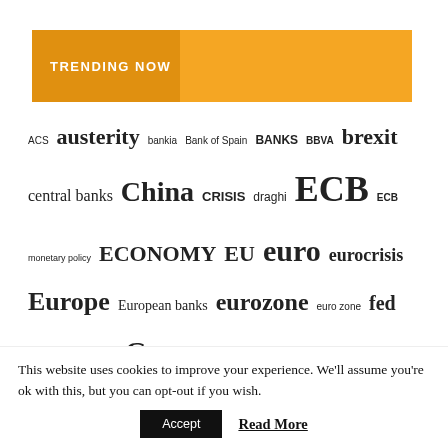TRENDING NOW
[Figure (infographic): Tag cloud of trending financial/economic topics including: ACS, austerity, bankia, Bank of Spain, BANKS, BBVA, brexit, central banks, China, CRISIS, draghi, ECB, ECB, monetary policy, ECONOMY, EU, euro, eurocrisis, Europe, European banks, eurozone, euro zone, fed, Ferrovial, France, Germany, Greece, growth, Iberdrola, IMF, inflation, Italy, Markets, monetary policy, oil prices, qe, Repsol, Santander, Spain, Spanish banks, spanish]
This website uses cookies to improve your experience. We’ll assume you’re ok with this, but you can opt-out if you wish.
Accept   Read More